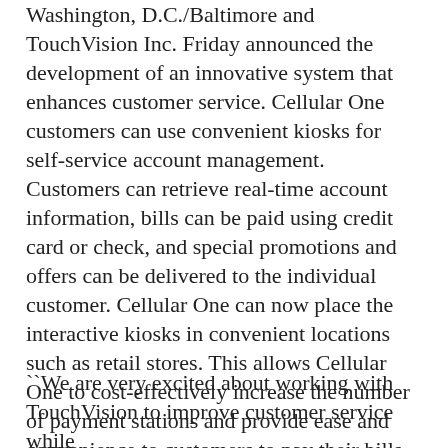Washington, D.C./Baltimore and TouchVision Inc. Friday announced the development of an innovative system that enhances customer service. Cellular One customers can use convenient kiosks for self-service account management. Customers can retrieve real-time account information, bills can be paid using credit card or check, and special promotions and offers can be delivered to the individual customer. Cellular One can now place the interactive kiosks in convenient locations such as retail stores. This allows Cellular One to cost-effectively increase the number of payment stations and provide ease and convenience to customers to pay their bills and access account information.
``We are very excited about working with TouchVision to improve customer service while